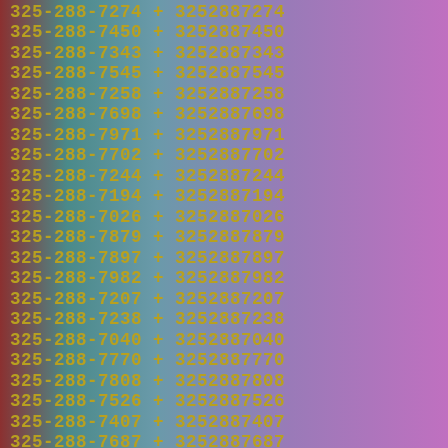325-288-7274 + 3252887274
325-288-7450 + 3252887450
325-288-7343 + 3252887343
325-288-7545 + 3252887545
325-288-7258 + 3252887258
325-288-7698 + 3252887698
325-288-7971 + 3252887971
325-288-7702 + 3252887702
325-288-7244 + 3252887244
325-288-7194 + 3252887194
325-288-7026 + 3252887026
325-288-7879 + 3252887879
325-288-7897 + 3252887897
325-288-7982 + 3252887982
325-288-7207 + 3252887207
325-288-7238 + 3252887238
325-288-7040 + 3252887040
325-288-7770 + 3252887770
325-288-7808 + 3252887808
325-288-7526 + 3252887526
325-288-7407 + 3252887407
325-288-7687 + 3252887687
325-288-7173 + 3252887173